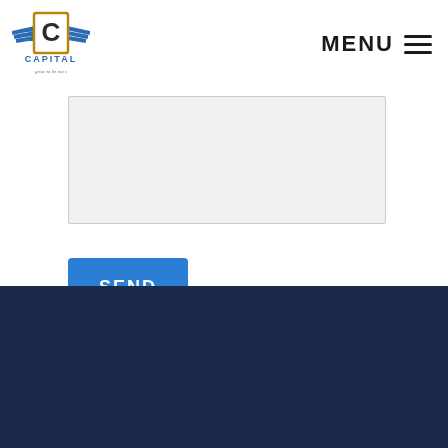[Figure (logo): Capital logo with eagle wings and letter C in a bordered box, text 'CAPITAL' and tagline below]
MENU
[Figure (illustration): Hamburger menu icon with three horizontal lines]
[Figure (other): Large textarea input box with light gray background and resize handle]
[Figure (other): Blue SEND button]
[Figure (other): Dark navy blue footer band]